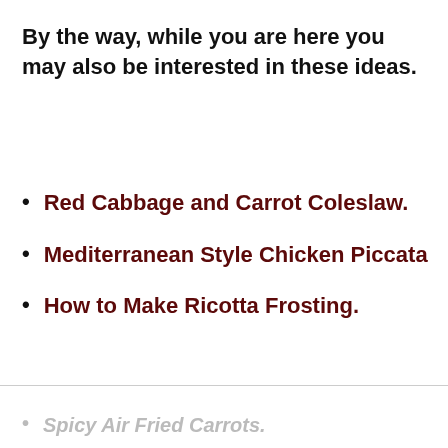By the way, while you are here you may also be interested in these ideas.
Red Cabbage and Carrot Coleslaw.
Mediterranean Style Chicken Piccata
How to Make Ricotta Frosting.
Spicy Air Fried Carrots.